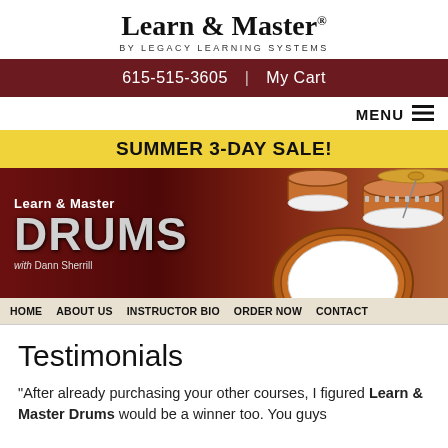Learn & Master BY LEGACY LEARNING SYSTEMS
615-515-3605 | My Cart
MENU
SUMMER 3-DAY SALE!
[Figure (illustration): Learn & Master Drums banner with drum kit image and instructor name Dann Sherrill]
HOME  ABOUT US  INSTRUCTOR BIO  ORDER NOW  CONTACT
Testimonials
"After already purchasing your other courses, I figured Learn & Master Drums would be a winner too. You guys